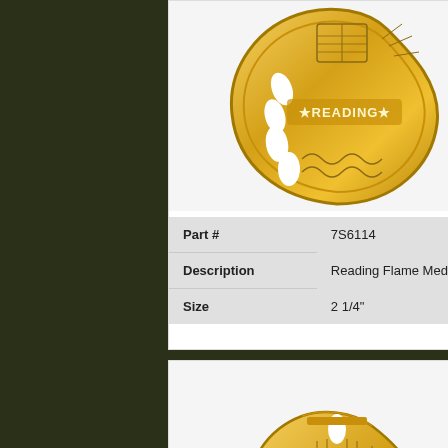[Figure (photo): Gold flame-shaped Reading medal with cutout oval decorations and engraved reading theme]
| Part # | 7S6114 |
| Description | Reading Flame Medal |
| Size | 2 1/4" |
[Figure (photo): Partial view of another gold flame-shaped medal, showing top portion]